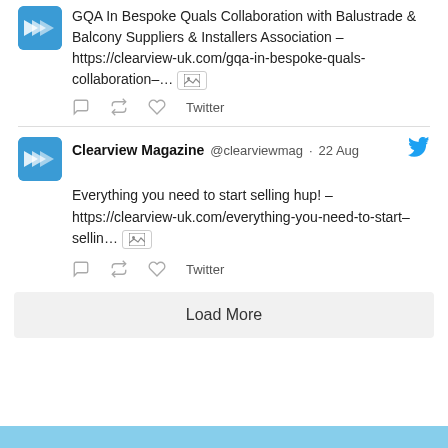GQA In Bespoke Quals Collaboration with Balustrade & Balcony Suppliers & Installers Association – https://clearview-uk.com/gqa-in-bespoke-quals-collaboration-… [image]
Twitter
[Figure (screenshot): Clearview Magazine Twitter avatar - blue logo with arrows]
Clearview Magazine @clearviewmag · 22 Aug
Everything you need to start selling hup! – https://clearview-uk.com/everything-you-need-to-start-sellin... [image]
Twitter
Load More